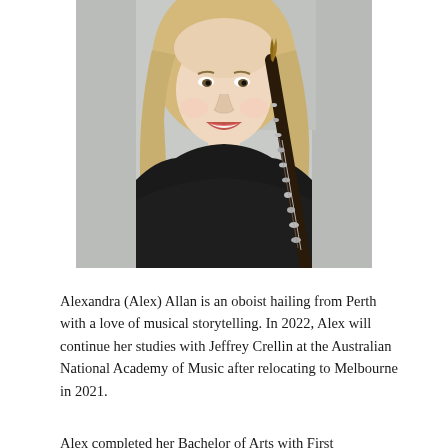[Figure (photo): Professional photo of Alexandra (Alex) Allan, a young woman with long blonde hair, wearing a black sheer long-sleeve top, smiling with mouth open, holding an oboe instrument diagonally across her body, against a light stone/marble wall background.]
Alexandra (Alex) Allan is an oboist hailing from Perth with a love of musical storytelling. In 2022, Alex will continue her studies with Jeffrey Crellin at the Australian National Academy of Music after relocating to Melbourne in 2021.
Alex completed her Bachelor of Arts with First